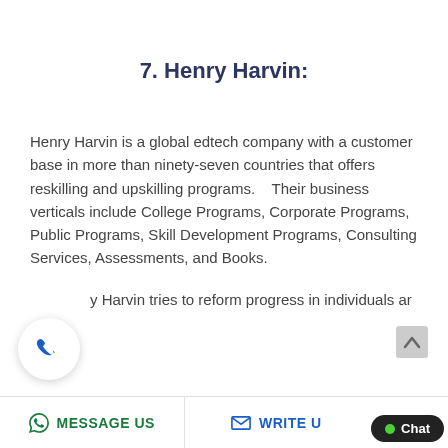7. Henry Harvin:
Henry Harvin is a global edtech company with a customer base in more than ninety-seven countries that offers reskilling and upskilling programs.   Their business verticals include College Programs, Corporate Programs, Public Programs, Skill Development Programs, Consulting Services, Assessments, and Books.
y Harvin tries to reform progress in individuals ar
MESSAGE US   WRITE U   Chat